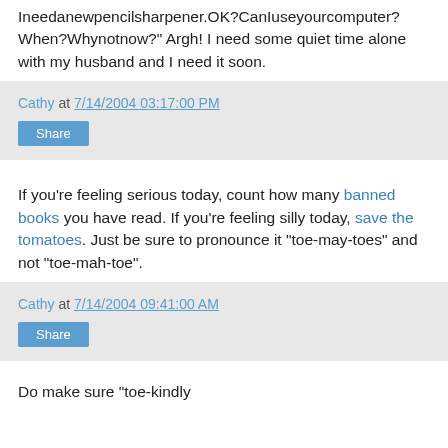Ineedanewpencilsharpener.OK?CanIuseyourcomputer?When?Whynotnow?" Argh! I need some quiet time alone with my husband and I need it soon.
Cathy at 7/14/2004 03:17:00 PM
Share
If you're feeling serious today, count how many banned books you have read. If you're feeling silly today, save the tomatoes. Just be sure to pronounce it "toe-may-toes" and not "toe-mah-toe".
Cathy at 7/14/2004 09:41:00 AM
Share
Do make sure "toe"-kindly correct to insert right...